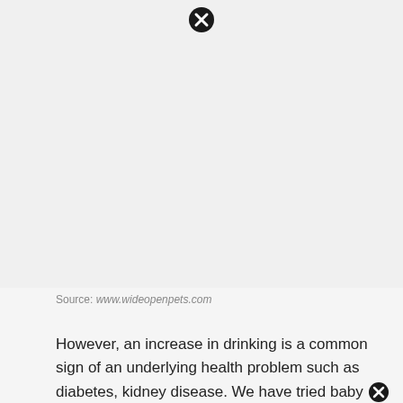[Figure (photo): A photo placeholder with a close/error icon at the top center, shown as a light gray rectangle.]
Source: www.wideopenpets.com
However, an increase in drinking is a common sign of an underlying health problem such as diabetes, kidney disease. We have tried baby food, expensive cat food, ham